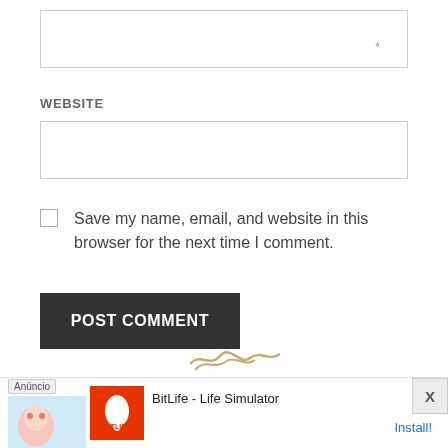[Figure (screenshot): Text input field (empty) with an asterisk on the right]
WEBSITE
[Figure (screenshot): Website text input field (empty)]
Save my name, email, and website in this browser for the next time I comment.
[Figure (screenshot): POST COMMENT button (dark background, white text)]
[Figure (infographic): Advertisement banner at bottom: Anúncio label, BitLife - Life Simulator ad with Install! link and X close button]